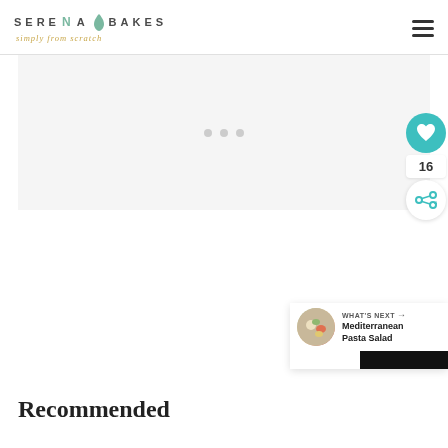SERENA BAKES simply from scratch
[Figure (other): Ad placeholder area with three gray loading dots centered on light gray background]
[Figure (other): Teal circular heart/like button with count 16 and a white share button below]
[Figure (other): What's Next card showing Mediterranean Pasta Salad with circular food thumbnail]
Recommended